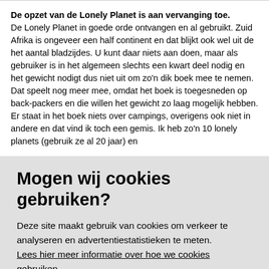De opzet van de Lonely Planet is aan vervanging toe. De Lonely Planet in goede orde ontvangen en al gebruikt. Zuid Afrika is ongeveer een half continent en dat blijkt ook wel uit de het aantal bladzijdes. U kunt daar niets aan doen, maar als gebruiker is in het algemeen slechts een kwart deel nodig en het gewicht nodigt dus niet uit om zo'n dik boek mee te nemen. Dat speelt nog meer mee, omdat het boek is toegesneden op back-packers en die willen het gewicht zo laag mogelijk hebben. Er staat in het boek niets over campings, overigens ook niet in andere en dat vind ik toch een gemis. Ik heb zo'n 10 lonely planets (gebruik ze al 20 jaar) en
Mogen wij cookies gebruiken?
Deze site maakt gebruik van cookies om verkeer te analyseren en advertentiestatistieken te meten. Lees hier meer informatie over hoe we cookies gebruiken